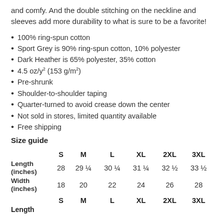and comfy. And the double stitching on the neckline and sleeves add more durability to what is sure to be a favorite!
100% ring-spun cotton
Sport Grey is 90% ring-spun cotton, 10% polyester
Dark Heather is 65% polyester, 35% cotton
4.5 oz/y² (153 g/m²)
Pre-shrunk
Shoulder-to-shoulder taping
Quarter-turned to avoid crease down the center
Not sold in stores, limited quantity available
Free shipping
Size guide
|  | S | M | L | XL | 2XL | 3XL |
| --- | --- | --- | --- | --- | --- | --- |
| Length (inches) | 28 | 29 ¼ | 30 ¼ | 31 ¼ | 32 ½ | 33 ½ |
| Width (inches) | 18 | 20 | 22 | 24 | 26 | 28 |
Length